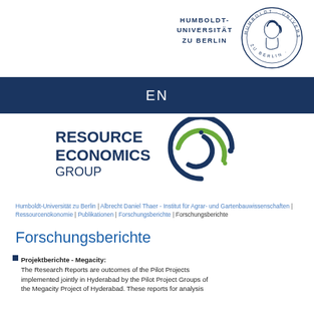[Figure (logo): Humboldt-Universität zu Berlin logo with circular seal featuring a portrait and text 'HUMBOLDT-UNIVERSITÄT ZU BERLIN']
EN
[Figure (logo): Resource Economics Group logo with circular graphic and text 'RESOURCE ECONOMICS GROUP']
Humboldt-Universität zu Berlin | Albrecht Daniel Thaer - Institut für Agrar- und Gartenbauwissenschaften | Ressourcenökonomie | Publikationen | Forschungsberichte | Forschungsberichte
Forschungsberichte
Projektberichte - Megacity: The Research Reports are outcomes of the Pilot Projects implemented jointly in Hyderabad by the Pilot Project Groups of the Megacity Project of Hyderabad. These reports for analysis